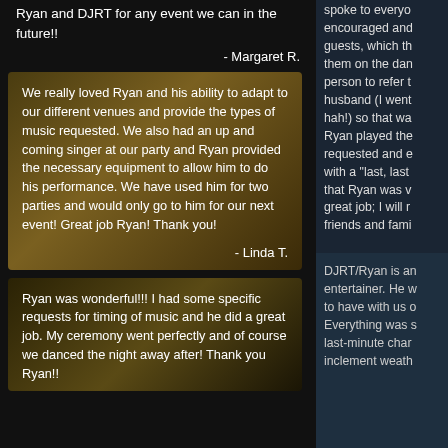Ryan and DJRT for any event we can in the future!!
- Margaret R.
We really loved Ryan and his ability to adapt to our different venues and provide the types of music requested. We also had an up and coming singer at our party and Ryan provided the necessary equipment to allow him to do his performance. We have used him for two parties and would only go to him for our next event! Great job Ryan! Thank you!
- Linda T.
Ryan was wonderful!!! I had some specific requests for timing of music and he did a great job. My ceremony went perfectly and of course we danced the night away after! Thank you Ryan!!
spoke to everyo... encouraged and... guests, which th... them on the dan... person to refer t... husband (I went... hah!) so that wa... Ryan played the... requested and e... with a "last, last... that Ryan was v... great job; I will r... friends and fami...
DJRT/Ryan is an entertainer. He w... to have with us o... Everything was s... last-minute char... inclement weath...